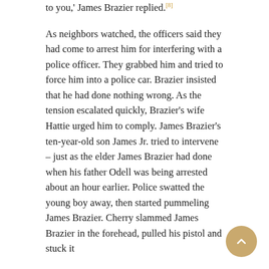to you,' James Brazier replied.[8]
As neighbors watched, the officers said they had come to arrest him for interfering with a police officer. They grabbed him and tried to force him into a police car. Brazier insisted that he had done nothing wrong. As the tension escalated quickly, Brazier's wife Hattie urged him to comply. James Brazier's ten-year-old son James Jr. tried to intervene – just as the elder James Brazier had done when his father Odell was being arrested about an hour earlier. Police swatted the young boy away, then started pummeling James Brazier. Cherry slammed James Brazier in the forehead, pulled his pistol and stuck it